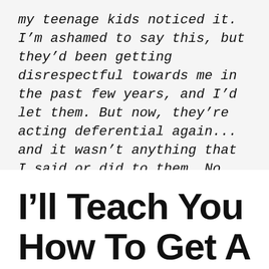my teenage kids noticed it. I'm ashamed to say this, but they'd been getting disrespectful towards me in the past few years, and I'd let them. But now, they're acting deferential again... and it wasn't anything that I said or did to them. No threats. I guess even they can feel this new power inside of me."
I'll Teach You How To Get A Woman